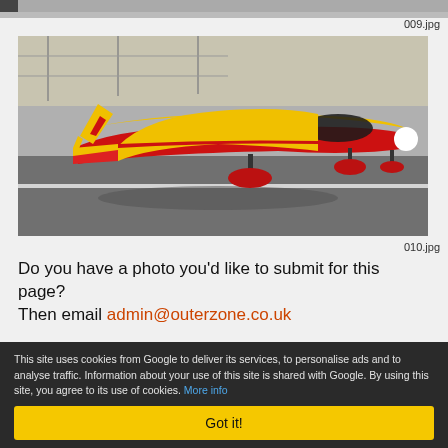[Figure (photo): Partial top strip of a previous image (cropped at top of page)]
009.jpg
[Figure (photo): RC model airplane with yellow and red color scheme, sitting on a tarmac surface with chain-link fence in background. The aircraft is a sleek glider/aerobatic type with swept wings.]
010.jpg
Do you have a photo you'd like to submit for this page? Then email admin@outerzone.co.uk
This site uses cookies from Google to deliver its services, to personalise ads and to analyse traffic. Information about your use of this site is shared with Google. By using this site, you agree to its use of cookies. More info
Got it!